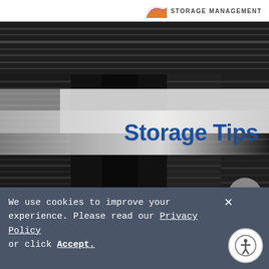STORAGE MANAGEMENT
[Figure (photo): Dark interior of a storage facility showing rows of storage units with metal roll-up doors, viewed from corridor angle. A translucent white/grey overlay band with 'Storage Tips' title appears in the middle of the image.]
Storage Tips
Packing Up the Grill: How
We use cookies to improve your experience. Please read our Privacy Policy or click Accept.